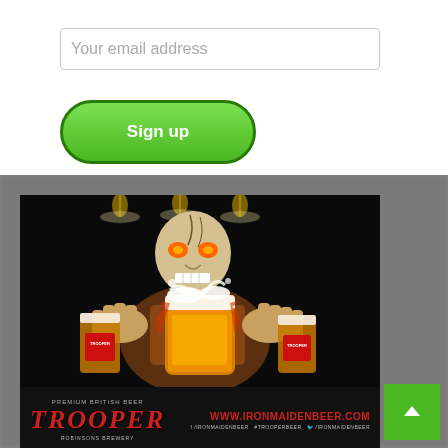Your email address
Sign up
[Figure (photo): Iron Maiden Trooper beer promotional advertisement showing the Eddie mascot (zombie figure in leather jacket) holding a frothy beer mug with two Trooper beer glasses in the background. Bottom bar shows 'TROOPER' logo in red italic text, 'PREMIUM BRITISH BEER', 'ROBINSONS BREWERY', and 'WWW.IRONMAIDENBEER.COM' with social media handles. Image is displayed over a blurred stone/brick background.]
[Figure (other): Green scroll-to-top button with upward chevron arrow in bottom-right corner of the image section.]